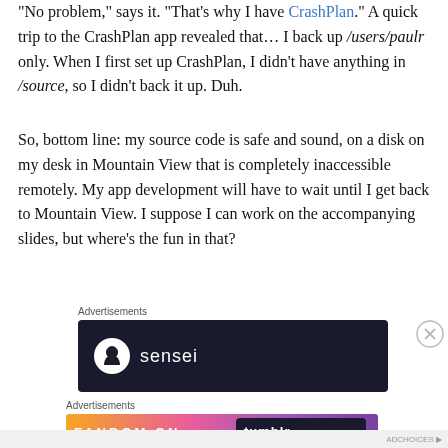“No problem,” says it. “That’s why I have CrashPlan.” A quick trip to the CrashPlan app revealed that… I back up /users/paulr only. When I first set up CrashPlan, I didn’t have anything in /source, so I didn’t back it up. Duh.
So, bottom line: my source code is safe and sound, on a disk on my desk in Mountain View that is completely inaccessible remotely. My app development will have to wait until I get back to Mountain View. I suppose I can work on the accompanying slides, but where’s the fun in that?
Advertisements
[Figure (photo): Dark advertisement banner for Sensei with logo icon and text]
Advertisements
[Figure (photo): Colorful Fandom on Tumblr advertisement banner with orange to purple gradient]